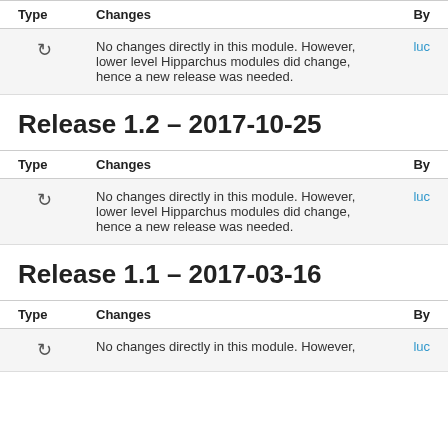| Type | Changes | By |
| --- | --- | --- |
| ↻ | No changes directly in this module. However, lower level Hipparchus modules did change, hence a new release was needed. | luc |
Release 1.2 – 2017-10-25
| Type | Changes | By |
| --- | --- | --- |
| ↻ | No changes directly in this module. However, lower level Hipparchus modules did change, hence a new release was needed. | luc |
Release 1.1 – 2017-03-16
| Type | Changes | By |
| --- | --- | --- |
| ↻ | No changes directly in this module. However, | luc |